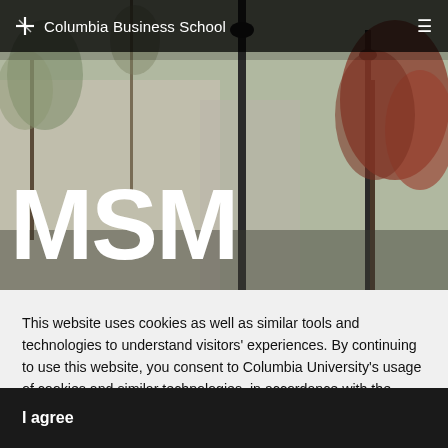Columbia Business School
[Figure (photo): Outdoor campus scene with black lamp posts, bare trees with spring foliage, and a large red-leafed tree on the right. Columbia Business School campus setting.]
MSM
This website uses cookies as well as similar tools and technologies to understand visitors' experiences. By continuing to use this website, you consent to Columbia University's usage of cookies and similar technologies, in accordance with the Columbia University Website Cookie Notice.
I agree